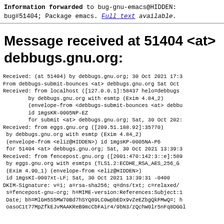Information forwarded to bug-gnu-emacs@HIDDEN: bug#51404; Package emacs. Full text available.
Message received at 51404 <at> debbugs.gnu.org:
Received: (at 51404) by debbugs.gnu.org; 30 Oct 2021 17:3
From debbugs-submit-bounces <at> debbugs.gnu.org Sat Oct
Received: from localhost ([127.0.0.1]:58437 helo=debbugs
        by debbugs.gnu.org with esmtp (Exim 4.84_2)
        (envelope-from <debbugs-submit-bounces <at> debbu
        id 1mgsKR-0005NP-EZ
        for submit <at> debbugs.gnu.org; Sat, 30 Oct 202:
Received: from eggs.gnu.org ([209.51.188.92]:35770)
 by debbugs.gnu.org with esmtp (Exim 4.84_2)
 (envelope-from <eliz@HIDDEN>) id 1mgsKP-0005NA-P6
 for 51404 <at> debbugs.gnu.org; Sat, 30 Oct 2021 13:39:3
Received: from fencepost.gnu.org ([2001:470:142:3::e]:589
 by eggs.gnu.org with esmtps (TLS1.2:ECDHE_RSA_AES_256_G
 (Exim 4.90_1) (envelope-from <eliz@HIDDEN>)
 id 1mgsKI-0007xt-LF; Sat, 30 Oct 2021 13:39:31 -0400
DKIM-Signature: v=1; a=rsa-sha256; q=dns/txt; c=relaxed/
 s=fencepost-gnu-org; h=MIME-version:References:Subject:1
 Date; bh=MlGH5S5MW70Bd7hSYQ89LC0wpbEDx9vZeEZbgQkFMwQ=; h
 oasoC1t77MpZfkEJvMAAKReB9mcCbFAir4/9bN3/zQchW0lr5nFq8DGGD